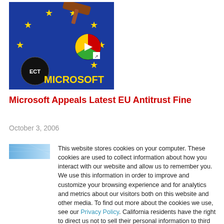[Figure (photo): ECT Microsoft news thumbnail: EU flag with yellow stars on blue background, a gavel, ECT logo circle, play button icon, and 'MICROSOFT' text in yellow]
Microsoft Appeals Latest EU Antitrust Fine
October 3, 2006
[Figure (photo): Partial second article image, partially obscured by cookie consent overlay]
This website stores cookies on your computer. These cookies are used to collect information about how you interact with our website and allow us to remember you. We use this information in order to improve and customize your browsing experience and for analytics and metrics about our visitors both on this website and other media. To find out more about the cookies we use, see our Privacy Policy. California residents have the right to direct us not to sell their personal information to third parties by filing an Opt-Out Request: Do Not Sell My Personal Info.